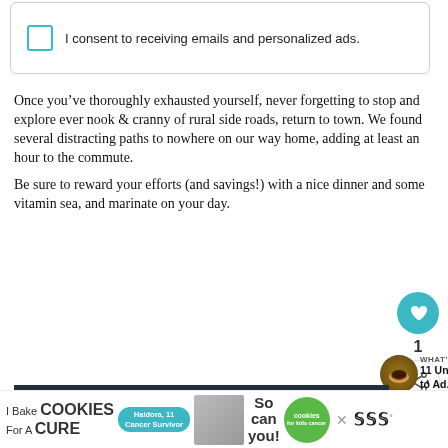I consent to receiving emails and personalized ads.
Once you've thoroughly exhausted yourself, never forgetting to stop and explore ever nook & cranny of rural side roads, return to town. We found several distracting paths to nowhere on our way home, adding at least an hour to the commute.
Be sure to reward your efforts (and savings!) with a nice dinner and some vitamin sea, and marinate on your day.
[Figure (screenshot): Social sharing widget with heart/like button showing count of 1 and a share button]
[Figure (infographic): What's Next promo showing coffee cup thumbnail and text '11 Unusual Things to Ad...']
[Figure (photo): Dark photo of someone at a table, partially visible]
[Figure (infographic): Advertisement banner: I Bake COOKIES For A CURE - Haldora, 11 Cancer Survivor - So can you! - cookies for kids cancer logo]